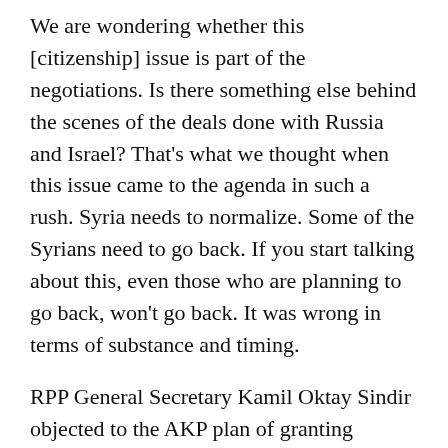We are wondering whether this [citizenship] issue is part of the negotiations. Is there something else behind the scenes of the deals done with Russia and Israel? That's what we thought when this issue came to the agenda in such a rush. Syria needs to normalize. Some of the Syrians need to go back. If you start talking about this, even those who are planning to go back, won't go back. It was wrong in terms of substance and timing.
RPP General Secretary Kamil Oktay Sindir objected to the AKP plan of granting citizenship to those Syrians considered “qualified” workers:
This means that you are discriminating and treating a refugee as someone to benefit from. We have many unemployed qualified workers in all fields. When we have so many jobless qualified people in